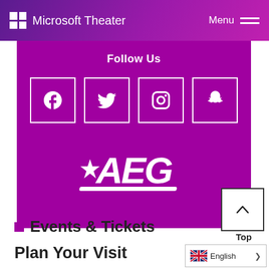Microsoft Theater  Menu
Follow Us
[Figure (logo): Social media icons: Facebook, Twitter, Instagram, Snapchat in white outlined boxes on purple background]
[Figure (logo): AEG logo in white on purple background]
[Figure (other): Back to top button with upward chevron arrow]
Top
Events & Tickets
Plan Your Visit
English